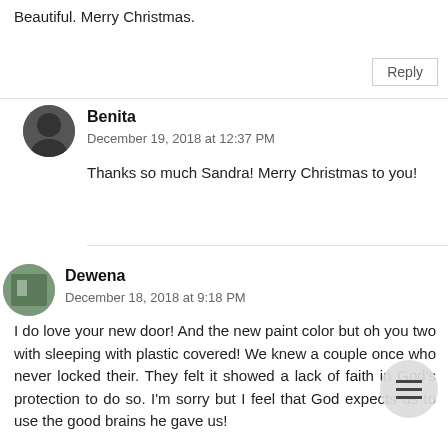Beautiful. Merry Christmas.
Reply
Benita
December 19, 2018 at 12:37 PM
Thanks so much Sandra! Merry Christmas to you!
Dewena
December 18, 2018 at 9:18 PM
I do love your new door! And the new paint color but oh you two with sleeping with plastic covered! We knew a couple once who never locked their. They felt it showed a lack of faith in God's protection to do so. I'm sorry but I feel that God expects us to use the good brains he gave us!